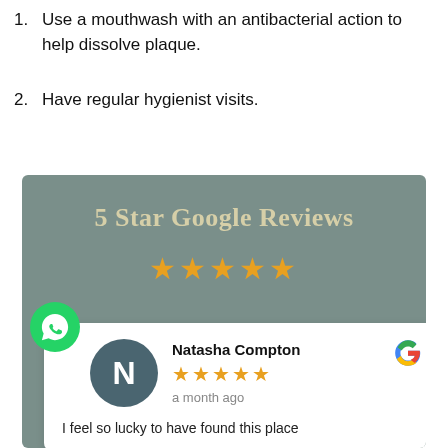Use a mouthwash with an antibacterial action to help dissolve plaque.
Have regular hygienist visits.
[Figure (infographic): 5 Star Google Reviews banner with golden star icons, a review card showing Natasha Compton with 5 stars, 'a month ago', and partial review text 'I feel so lucky to have found this place', with Google logo and WhatsApp icon.]